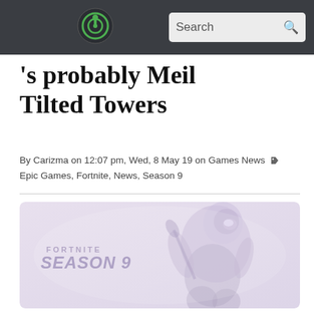Search
Fortnite's probably Meh - Tilted Towers
By Carizma on 12:07 pm, Wed, 8 May 19 on Games News   Epic Games, Fortnite, News, Season 9
[Figure (illustration): Fortnite Season 9 promotional artwork showing a character with futuristic gear against a light purple/pink background, with FORTNITE SEASON 9 text overlay]